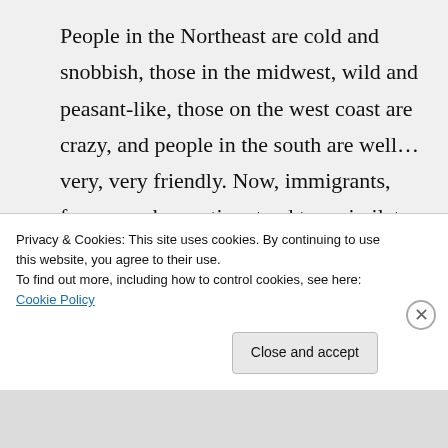People in the Northeast are cold and snobbish, those in the midwest, wild and peasant-like, those on the west coast are crazy, and people in the south are well…very, very friendly. Now, immigrants, from my observation, tend to assimilate very well in the midwest. This I believe is due to two reasons. Midwestern Americans are open and fair to all foreigners, they treat others as
Privacy & Cookies: This site uses cookies. By continuing to use this website, you agree to their use.
To find out more, including how to control cookies, see here: Cookie Policy
Close and accept